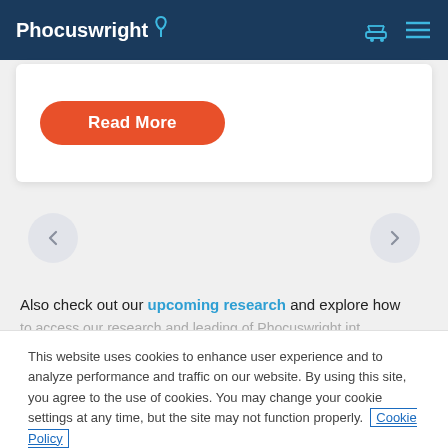Phocuswright
[Figure (screenshot): Red rounded button labeled 'Read More' on a white card]
[Figure (other): Left and right navigation arrow buttons on light circular backgrounds]
Also check out our upcoming research and explore how
This website uses cookies to enhance user experience and to analyze performance and traffic on our website. By using this site, you agree to the use of cookies. You may change your cookie settings at any time, but the site may not function properly. Cookie Policy
Close